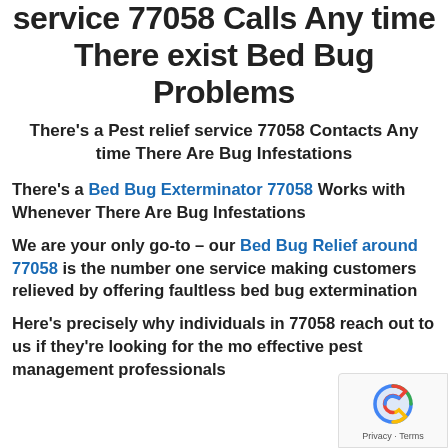service 77058 Calls Any time There exist Bed Bug Problems
There's a Pest relief service 77058 Contacts Any time There Are Bug Infestations
There's a Bed Bug Exterminator 77058 Works with Whenever There Are Bug Infestations
We are your only go-to – our Bed Bug Relief around 77058 is the number one service making customers relieved by offering faultless bed bug extermination
Here's precisely why individuals in 77058 reach out to us if they're looking for the most effective pest management professionals